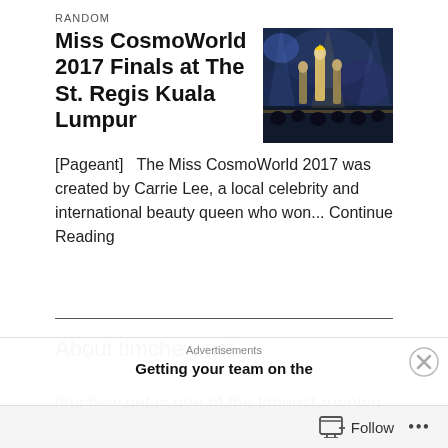RANDOM
Miss CosmoWorld 2017 Finals at The St. Regis Kuala Lumpur
[Figure (photo): Photo of a pageant event on stage with gold/white lighting and contestants]
[Pageant]   The Miss CosmoWorld 2017 was created by Carrie Lee, a local celebrity and international beauty queen who won... Continue Reading
About timchew.net
timchew.net is one of the longest running men's, premium and luxury lifestyle sites featuring curated news from Malaysia, Singapore, South East Asia, and beyond.
Advertisements
Getting your team on the